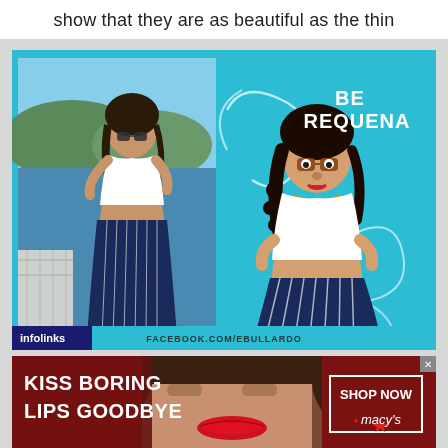show that they are as beautiful as the thin
[Figure (photo): Side-by-side image: left panel shows a real photo of a plus-size woman wearing a white crop top and navy pinstripe skirt standing near water; right panel shows a cartoon/illustration version of her with text 'BE REQUENA' and 'FACEBOOK.COM/EBULLARDO' at the bottom on a teal background. An 'infolinks' badge appears at bottom left.]
[Figure (photo): Advertisement banner: dark red background with a model's face showing red lips in the center, text 'KISS BORING LIPS GOODBYE' on the left, and a 'SHOP NOW / Macy's' button on the right with a red star.]